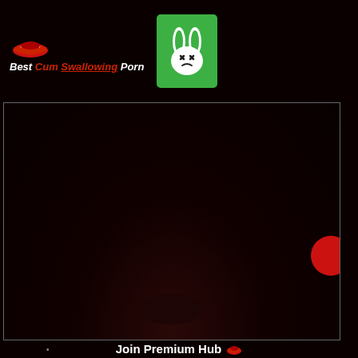[Figure (logo): Website logo: red lips/kiss icon with text 'Best Cum Swallowing Porn' and a green square with white rabbit skull icon]
[Figure (screenshot): Video player area showing a very dark/black video with faint reddish glow at bottom, red circular button on right side]
Join Premium Hub
No Ads, No Waiting, HD Streaming & Downloads